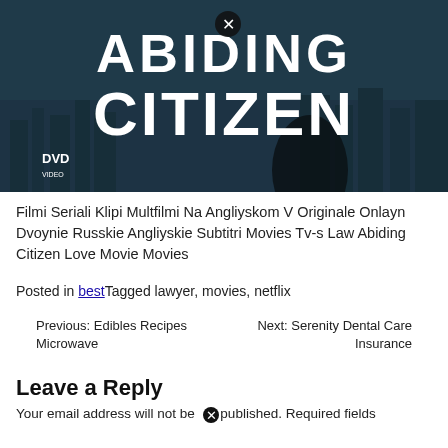[Figure (photo): Movie DVD cover/banner image for 'Law Abiding Citizen' showing bold white text 'ABIDING CITIZEN' on a dark city skyline background with a DVD logo in the lower left. A close button (X in circle) overlay is visible.]
Filmi Seriali Klipi Multfilmi Na Angliyskom V Originale Onlayn Dvoynie Russkie Angliyskie Subtitri Movies Tv-s Law Abiding Citizen Love Movie Movies
Posted in bestTagged lawyer, movies, netflix
Previous: Edibles Recipes Microwave
Next: Serenity Dental Care Insurance
Leave a Reply
Your email address will not be published. Required fields